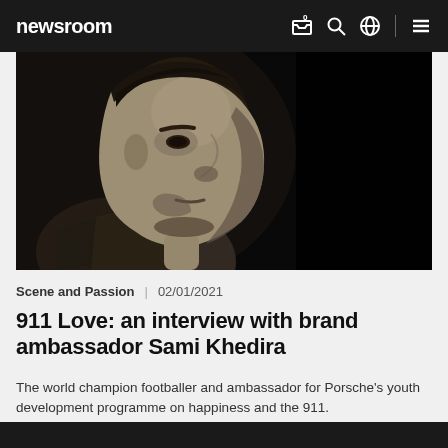newsroom
[Figure (photo): Black and white close-up profile portrait of Sami Khedira, a man with short beard, looking to his right, against a dark background]
Scene and Passion | 02/01/2021
911 Love: an interview with brand ambassador Sami Khedira
The world champion footballer and ambassador for Porsche's youth development programme on happiness and the 911.